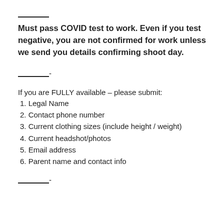________
Must pass COVID test to work. Even if you test negative, you are not confirmed for work unless we send you details confirming shoot day.
________-
If you are FULLY available – please submit:
1. Legal Name
2. Contact phone number
3. Current clothing sizes (include height / weight)
4. Current headshot/photos
5. Email address
6. Parent name and contact info
________-